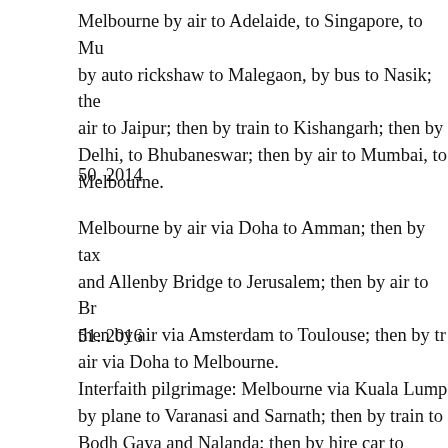Melbourne by air to Adelaide, to Singapore, to Mu by auto rickshaw to Malegaon, by bus to Nasik; the air to Jaipur; then by train to Kishangarh; then by Delhi, to Bhubaneswar; then by air to Mumbai, to Melbourne.
50. 2014
Melbourne by air via Doha to Amman; then by tax and Allenby Bridge to Jerusalem; then by air to Br then by air via Amsterdam to Toulouse; then by tr air via Doha to Melbourne.
51. 2016
Interfaith pilgrimage: Melbourne via Kuala Lump by plane to Varanasi and Sarnath; then by train to Bodh Gaya and Nalanda; then by hire car to Patna then by plane via Delhi to Srinagar; then by plan